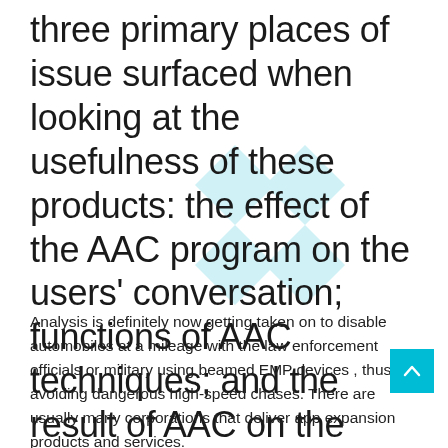three primary places of issue surfaced when looking at the usefulness of these products: the effect of the AAC program on the users' conversation; functions of AAC techniques; and the result of AAC on the consumers' good quality of lifetime
Analysis is definitely now getting taken on to disable automobiles at a mileage with the law enforcement officials or military using beamed EMP devices , thus avoiding dangerous high-speed chases. There are usually many corporations that deliver app expansion products and services.
[Figure (other): Scroll-to-top button (cyan/teal square with upward chevron arrow)]